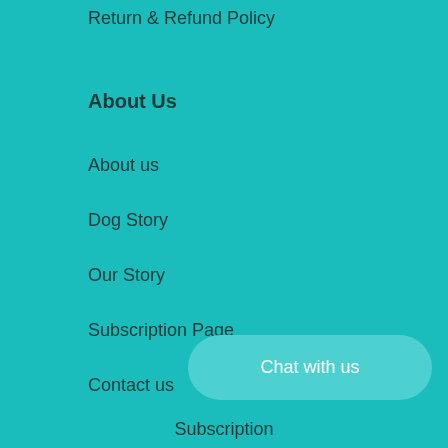Return & Refund Policy
About Us
About us
Dog Story
Our Story
Subscription Page
Contact us
Chat with us
Subscription